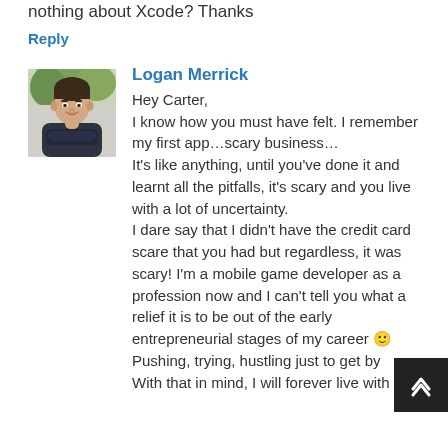nothing about Xcode? Thanks
Reply
[Figure (photo): Profile photo of Logan Merrick: young man with dark hair, arms crossed, wearing a dark plaid shirt, with green foliage in background]
Logan Merrick
Hey Carter,
I know how you must have felt. I remember my first app…scary business…
It's like anything, until you've done it and learnt all the pitfalls, it's scary and you live with a lot of uncertainty.
I dare say that I didn't have the credit card scare that you had but regardless, it was scary! I'm a mobile game developer as a profession now and I can't tell you what a relief it is to be out of the early entrepreneurial stages of my career 🙂
Pushing, trying, hustling just to get by.
With that in mind, I will forever live with